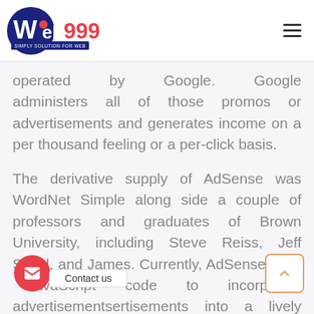web999 — Simply Solution for Web
operated by Google. Google administers all of those promos or advertisements and generates income on a per thousand feeling or a per-click basis.
The derivative supply of AdSense was WordNet Simple along side a couple of professors and graduates of Brown University, including Steve Reiss, Jeff Stibel, and James. Currently, AdSense uses JavaScript code to incorporate advertisements into a lively website.